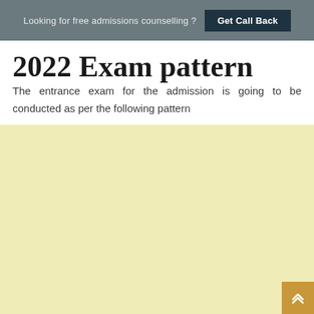Looking for free admissions counselling ? Get Call Back
2022 Exam pattern
The entrance exam for the admission is going to be conducted as per the following pattern
[Figure (other): Light yellow advertisement/content placeholder block with a gold scroll-to-top button in the bottom-right corner]